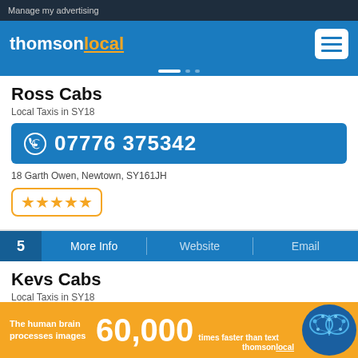Manage my advertising
[Figure (logo): Thomson Local logo with orange 'local' text]
Ross Cabs
Local Taxis in SY18
07776 375342
18 Garth Owen, Newtown, SY161JH
★★★★★
5  More Info  |  Website  |  Email
Kevs Cabs
Local Taxis in SY18
07969 013273
The human brain processes images  60,000  times faster than text